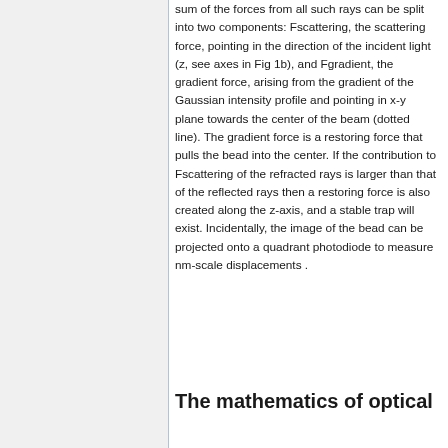sum of the forces from all such rays can be split into two components: Fscattering, the scattering force, pointing in the direction of the incident light (z, see axes in Fig 1b), and Fgradient, the gradient force, arising from the gradient of the Gaussian intensity profile and pointing in x-y plane towards the center of the beam (dotted line). The gradient force is a restoring force that pulls the bead into the center. If the contribution to Fscattering of the refracted rays is larger than that of the reflected rays then a restoring force is also created along the z-axis, and a stable trap will exist. Incidentally, the image of the bead can be projected onto a quadrant photodiode to measure nm-scale displacements .
The mathematics of optical